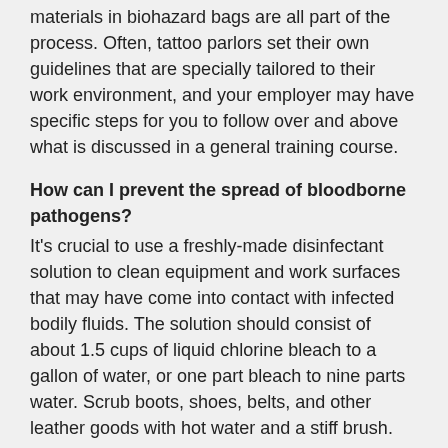materials in biohazard bags are all part of the process. Often, tattoo parlors set their own guidelines that are specially tailored to their work environment, and your employer may have specific steps for you to follow over and above what is discussed in a general training course.
How can I prevent the spread of bloodborne pathogens?
It's crucial to use a freshly-made disinfectant solution to clean equipment and work surfaces that may have come into contact with infected bodily fluids. The solution should consist of about 1.5 cups of liquid chlorine bleach to a gallon of water, or one part bleach to nine parts water. Scrub boots, shoes, belts, and other leather goods with hot water and a stiff brush. Wash and dry clothes that may have been exposed according to the manufacturer's guidelines.
What do I do if I have been exposed to infected blood?
If you are exposed to blood or bodily fluids that may be infected, first wash the area out with warm water, then